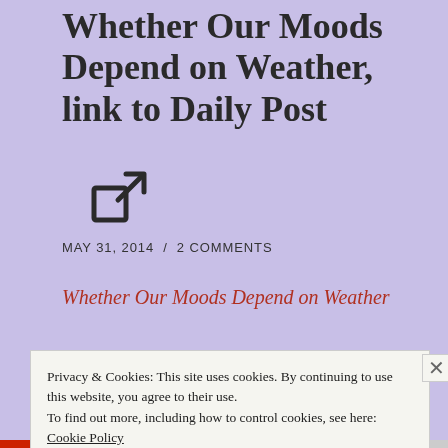Whether Our Moods Depend on Weather, link to Daily Post
MAY 31, 2014  /  2 COMMENTS
Whether Our Moods Depend on Weather
“Pa?” asked a young man named Dane, “Do you think our personality and decisions are affected by the weather? “Of course they are, son. Go ask that to your
Privacy & Cookies: This site uses cookies. By continuing to use this website, you agree to their use.
To find out more, including how to control cookies, see here: Cookie Policy
Close and accept